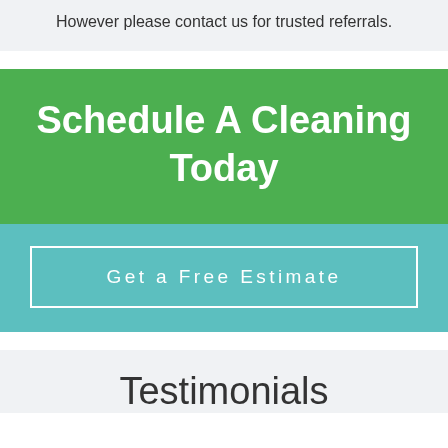However please contact us for trusted referrals.
Schedule A Cleaning Today
Get a Free Estimate
Testimonials